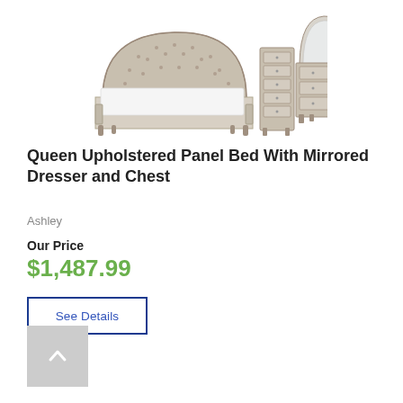[Figure (photo): Product photo showing a queen upholstered panel bed with tufted headboard, a tall chest of drawers, and a mirrored dresser, all in a gray/silver finish.]
Queen Upholstered Panel Bed With Mirrored Dresser and Chest
Ashley
Our Price
$1,487.99
See Details